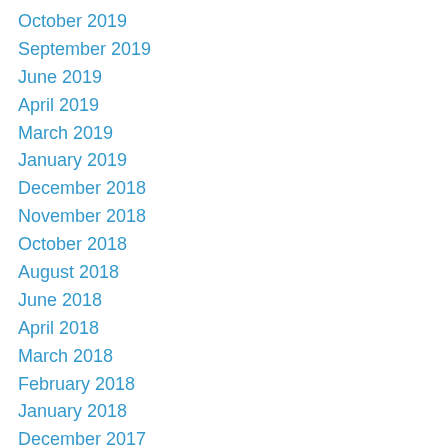October 2019
September 2019
June 2019
April 2019
March 2019
January 2019
December 2018
November 2018
October 2018
August 2018
June 2018
April 2018
March 2018
February 2018
January 2018
December 2017
November 2017
October 2017
September 2017
August 2017